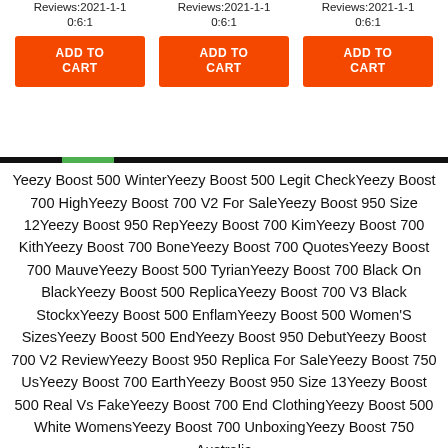Reviews:2021-1-10:6:1
Reviews:2021-1-10:6:1
Reviews:2021-1-10:6:1
ADD TO CART
ADD TO CART
ADD TO CART
Yeezy Boost 500 WinterYeezy Boost 500 Legit CheckYeezy Boost 700 HighYeezy Boost 700 V2 For SaleYeezy Boost 950 Size 12Yeezy Boost 950 RepYeezy Boost 700 KimYeezy Boost 700 KithYeezy Boost 700 BoneYeezy Boost 700 QuotesYeezy Boost 700 MauveYeezy Boost 500 TyrianYeezy Boost 700 Black On BlackYeezy Boost 500 ReplicaYeezy Boost 700 V3 Black StockxYeezy Boost 500 EnflamYeezy Boost 500 Women'S SizesYeezy Boost 500 EndYeezy Boost 950 DebutYeezy Boost 700 V2 ReviewYeezy Boost 950 Replica For SaleYeezy Boost 750 UsYeezy Boost 700 EarthYeezy Boost 950 Size 13Yeezy Boost 500 Real Vs FakeYeezy Boost 700 End ClothingYeezy Boost 500 White WomensYeezy Boost 700 UnboxingYeezy Boost 750 Australia